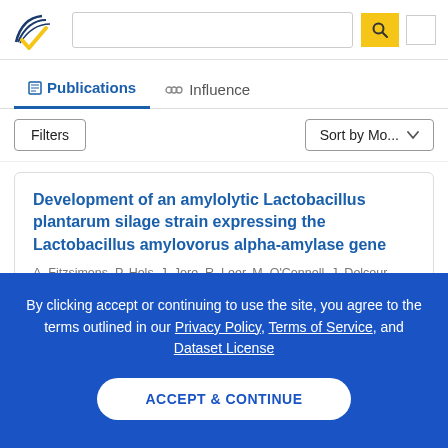[Figure (logo): Semantic Scholar logo with blue wing-like mark and yellow checkmark]
Publications | Influence | Filters | Sort by Mo...
Publications
Influence
Development of an amylolytic Lactobacillus plantarum silage strain expressing the Lactobacillus amylovorus alpha-amylase gene
A. Fitzsimons, P. Hols, J. Jore, R. Leer, M. O'Connell, J. Delcour
Medicine, Biology  •  Applied and environmental microbiology
By clicking accept or continuing to use the site, you agree to the terms outlined in our Privacy Policy, Terms of Service, and Dataset License
ACCEPT & CONTINUE